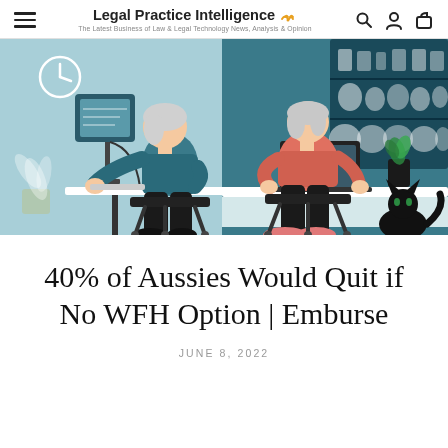Legal Practice Intelligence — The Latest Business of Law & Legal Technology News, Analysis & Opinion
[Figure (illustration): Split-panel illustration showing two women working at desks. Left panel: light blue background with woman with white/grey hair in teal top working at a desktop computer, large houseplant behind her, wall clock. Right panel: teal background with second woman in salmon/pink top working on a laptop at a kitchen counter, shelving unit with dishes/cups, potted plant, black cat sitting on the floor.]
40% of Aussies Would Quit if No WFH Option | Emburse
JUNE 8, 2022